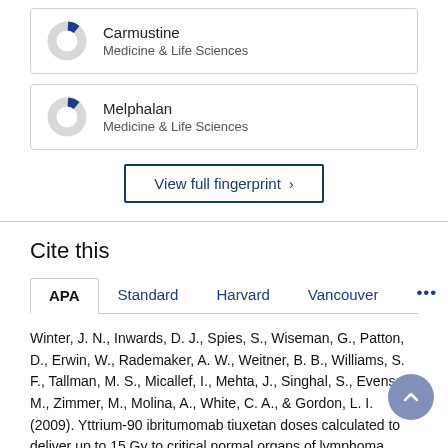[Figure (donut-chart): Small donut chart with a small blue filled segment (~10%), rest light gray. Label: Carmustine, Medicine & Life Sciences]
[Figure (donut-chart): Small donut chart with a small blue filled segment (~10%), rest light gray. Label: Melphalan, Medicine & Life Sciences]
View full fingerprint >
Cite this
APA  Standard  Harvard  Vancouver  ...
Winter, J. N., Inwards, D. J., Spies, S., Wiseman, G., Patton, D., Erwin, W., Rademaker, A. W., Weitner, B. B., Williams, S. F., Tallman, M. S., Micallef, I., Mehta, J., Singhal, S., Evens, A. M., Zimmer, M., Molina, A., White, C. A., & Gordon, L. I. (2009). Yttrium-90 ibritumomab tiuxetan doses calculated to deliver up to 15 Gy to critical normal organs of lymphoma patients with...